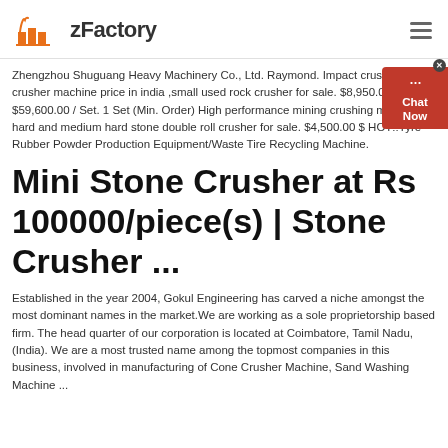zFactory
Zhengzhou Shuguang Heavy Machinery Co., Ltd. Raymond. Impact crusher,stone crusher machine price in india ,small used rock crusher for sale. $8,950.00 $59,600.00 / Set. 1 Set (Min. Order) High performance mining crushing machine hard and medium hard stone double roll crusher for sale. $4,500.00 $ HOT!!Tyre Rubber Powder Production Equipment/Waste Tire Recycling Machine.
Mini Stone Crusher at Rs 100000/piece(s) | Stone Crusher ...
Established in the year 2004, Gokul Engineering has carved a niche amongst the most dominant names in the market.We are working as a sole proprietorship based firm. The head quarter of our corporation is located at Coimbatore, Tamil Nadu, (India). We are a most trusted name among the topmost companies in this business, involved in manufacturing of Cone Crusher Machine, Sand Washing Machine ...